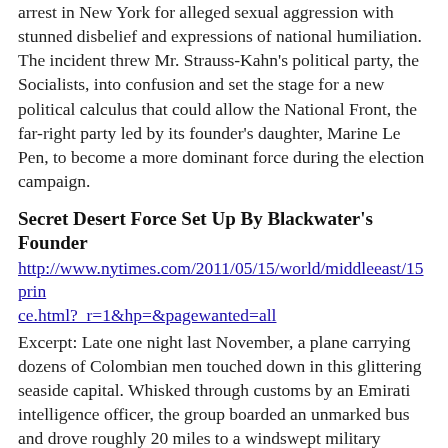arrest in New York for alleged sexual aggression with stunned disbelief and expressions of national humiliation. The incident threw Mr. Strauss-Kahn's political party, the Socialists, into confusion and set the stage for a new political calculus that could allow the National Front, the far-right party led by its founder's daughter, Marine Le Pen, to become a more dominant force during the election campaign.
Secret Desert Force Set Up By Blackwater's Founder
http://www.nytimes.com/2011/05/15/world/middleeast/15prince.html?_r=1&hp=&pagewanted=all
Excerpt: Late one night last November, a plane carrying dozens of Colombian men touched down in this glittering seaside capital. Whisked through customs by an Emirati intelligence officer, the group boarded an unmarked bus and drove roughly 20 miles to a windswept military complex in the desert sand. The Colombians had entered the United Arab Emirates posing as construction workers. In fact, they were soldiers for a secret American-led mercenary army being built by Erik Prince, the billionaire founder of Blackwater Worldwide, with $529 million from the oil-soaked